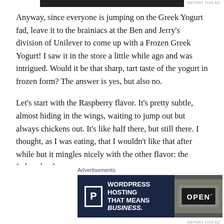[Figure (other): Dark banner ad strip at top]
REPORT THIS AD
Anyway, since everyone is jumping on the Greek Yogurt fad, leave it to the brainiacs at the Ben and Jerry’s division of Unilever to come up with a Frozen Greek Yogurt! I saw it in the store a little while ago and was intrigued. Would it be that sharp, tart taste of the yogurt in frozen form? The answer is yes, but also no.
Let’s start with the Raspberry flavor. It’s pretty subtle, almost hiding in the wings, waiting to jump out but always chickens out. It’s like half there, but still there. I thought, as I was eating, that I wouldn’t like that after while but it mingles nicely with the other flavor: the fudge chunks.
Advertisements
[Figure (other): WordPress Hosting advertisement banner with dark blue background, P icon, text WORDPRESS HOSTING THAT MEANS BUSINESS. and an OPEN sign image]
REPORT THIS AD